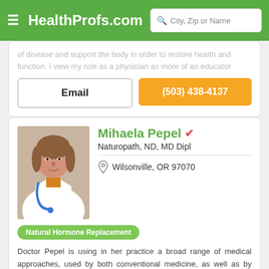HealthProfs.com — City, Zip or Name search
of disease and support the body in order to restore health and function. I view my role as a physician as more of an educator
Email
(503) 438-4137
Mihaela Pepel
Naturopath, ND, MD Dipl
Wilsonville, OR 97070
Natural Hormone Replacement
Doctor Pepel is using in her practice a broad range of medical approaches, used by both conventional medicine, as well as by naturopathic community. She has been educated and has